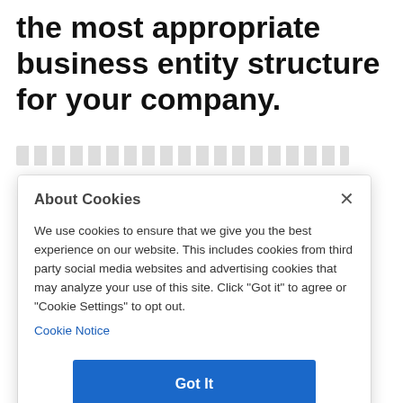the most appropriate business entity structure for your company.
We use cookies to ensure that we give you the best experience on our website. This includes cookies from third party social media websites and advertising cookies that may analyze your use of this site. Click "Got it" to agree or "Cookie Settings" to opt out.
Cookie Notice
Got It
Cookies Settings